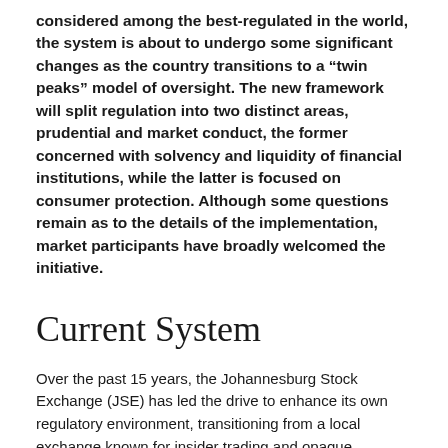considered among the best-regulated in the world, the system is about to undergo some significant changes as the country transitions to a "twin peaks" model of oversight. The new framework will split regulation into two distinct areas, prudential and market conduct, the former concerned with solvency and liquidity of financial institutions, while the latter is focused on consumer protection. Although some questions remain as to the details of the implementation, market participants have broadly welcomed the initiative.
Current System
Over the past 15 years, the Johannesburg Stock Exchange (JSE) has led the drive to enhance its own regulatory environment, transitioning from a local exchange known for insider trading and opaque processes to the modern, transparent bourse that it is today. Acting as the frontline regulator, the JSE sets listing requirements and enforces the trading rules that it has established. According to the World Economic Forum's Global